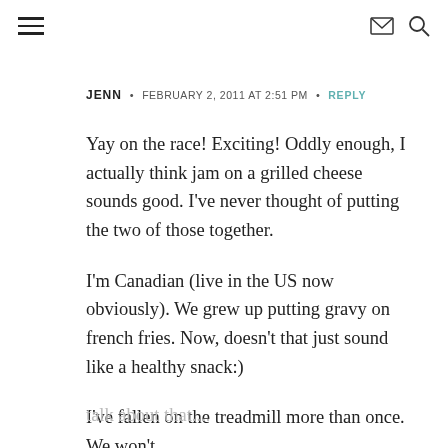≡  ✉ 🔍
JENN • FEBRUARY 2, 2011 AT 2:51 PM • REPLY
Yay on the race! Exciting! Oddly enough, I actually think jam on a grilled cheese sounds good. I've never thought of putting the two of those together.
I'm Canadian (live in the US now obviously). We grew up putting gravy on french fries. Now, doesn't that just sound like a healthy snack:)
I've fallen on the treadmill more than once. We won't talk about that....